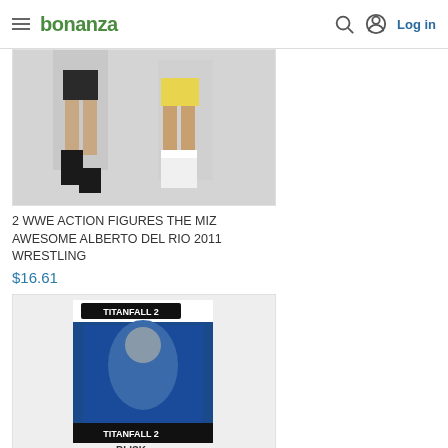bonanza — Log in
[Figure (photo): WWE action figures showing legs and boots of two wrestling figures against a white background]
2 WWE ACTION FIGURES THE MIZ AWESOME ALBERTO DEL RIO 2011 WRESTLING
$16.61
[Figure (photo): Titanfall 2 action figure of Blisk in box packaging showing blue themed box with character artwork]